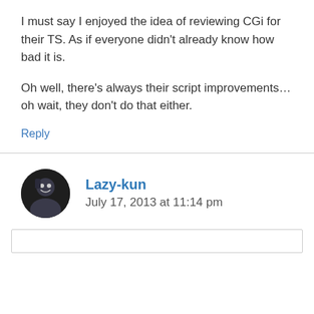I must say I enjoyed the idea of reviewing CGi for their TS. As if everyone didn’t already know how bad it is.
Oh well, there’s always their script improvements… oh wait, they don’t do that either.
Reply
Lazy-kun
July 17, 2013 at 11:14 pm